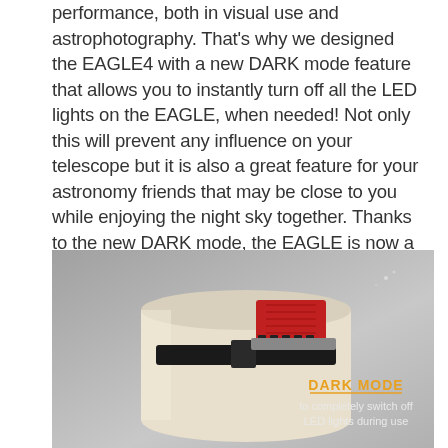performance, both in visual use and astrophotography. That's why we designed the EAGLE4 with a new DARK mode feature that allows you to instantly turn off all the LED lights on the EAGLE, when needed! Not only this will prevent any influence on your telescope but it is also a great feature for your astronomy friends that may be close to you while enjoying the night sky together. Thanks to the new DARK mode, the EAGLE is now a welcome guest at star parties where standard computers may be prohibited because of uncontrolled light emissions from LEDs and screens (the EAGLE doesn't need for a screen to operate).
[Figure (photo): Photo of EAGLE4 device mounted on a telescope tube with a red circuit board visible. Overlaid text in orange reads 'DARK MODE' with white text below 'to completely switch off LED lights during use'.]